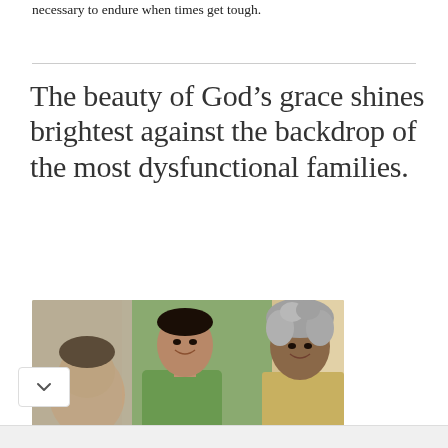necessary to endure when times get tough.
The beauty of God’s grace shines brightest against the backdrop of the most dysfunctional families.
[Figure (photo): A smiling family group: a young man in a light green shirt laughing, an older woman with curly gray hair smiling, and a child in the foreground, photographed indoors with warm lighting.]